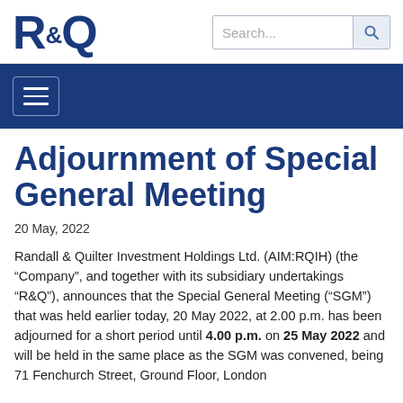R&Q
Adjournment of Special General Meeting
20 May, 2022
Randall & Quilter Investment Holdings Ltd. (AIM:RQIH) (the “Company”, and together with its subsidiary undertakings “R&Q”), announces that the Special General Meeting (“SGM”) that was held earlier today, 20 May 2022, at 2.00 p.m. has been adjourned for a short period until 4.00 p.m. on 25 May 2022 and will be held in the same place as the SGM was convened, being 71 Fenchurch Street, Ground Floor, London